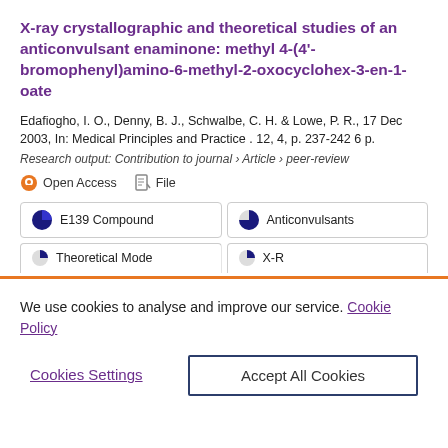X-ray crystallographic and theoretical studies of an anticonvulsant enaminone: methyl 4-(4'-bromophenyl)amino-6-methyl-2-oxocyclohex-3-en-1-oate
Edafiogho, I. O., Denny, B. J., Schwalbe, C. H. & Lowe, P. R., 17 Dec 2003, In: Medical Principles and Practice . 12, 4, p. 237-242 6 p.
Research output: Contribution to journal › Article › peer-review
Open Access   File
E139 Compound
Anticonvulsants
Theoretical Models
X-R...
We use cookies to analyse and improve our service. Cookie Policy
Cookies Settings
Accept All Cookies